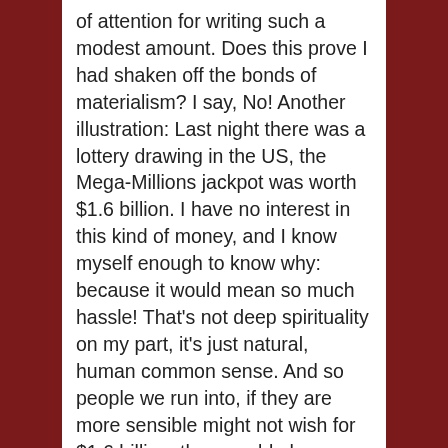of attention for writing such a modest amount. Does this prove I had shaken off the bonds of materialism? I say, No! Another illustration: Last night there was a lottery drawing in the US, the Mega-Millions jackpot was worth $1.6 billion. I have no interest in this kind of money, and I know myself enough to know why: because it would mean so much hassle! That's not deep spirituality on my part, it's just natural, human common sense. And so people we run into, if they are more sensible might not wish for $1.6 billion, they would phrase their wish as: I want just enough money to have no worries. I want the freedom to find my 'true purpose'. I want enough resources so that my work is not to just pay the bills, but to be personally meaningful. Those are wishes I appreciate; thus these are the temptations I must